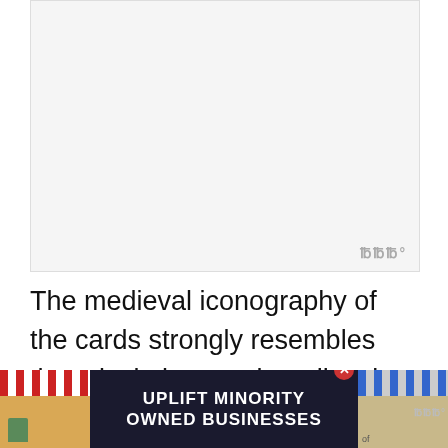[Figure (other): Blank/white image placeholder area with a watermark symbol in the bottom right corner]
The medieval iconography of the cards strongly resembles theatrical plays and medieval carnivals. Furthermore, the influence of the Catholic tradition and the Gothic cultural movement is evident in the trumps of the Devil or the World, as well as the ... ance of
[Figure (other): Advertisement banner: UPLIFT MINORITY OWNED BUSINESSES with shop illustrations on both sides]